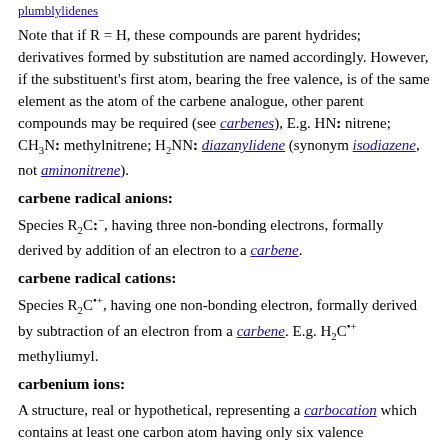plumblylidenes
Note that if R = H, these compounds are parent hydrides; derivatives formed by substitution are named accordingly. However, if the substituent's first atom, bearing the free valence, is of the same element as the atom of the carbene analogue, other parent compounds may be required (see carbenes), E.g. HN: nitrene; CH3N: methylnitrene; H2NN: diazanylidene (synonym isodiazene, not aminonitrene).
carbene radical anions:
Species R2C:⁻, having three non-bonding electrons, formally derived by addition of an electron to a carbene.
carbene radical cations:
Species R2C·⁺, having one non-bonding electron, formally derived by subtraction of an electron from a carbene. E.g. H2C·⁺ methyliumyl.
carbenium ions:
A structure, real or hypothetical, representing a carbocation which contains at least one carbon atom having only six valence